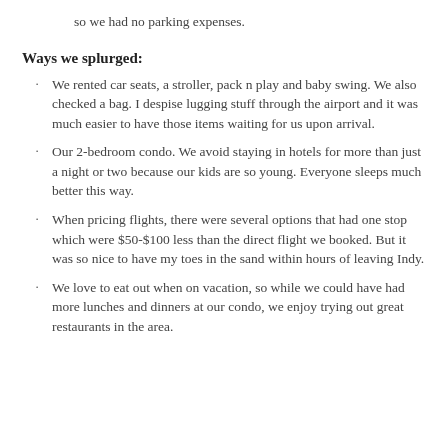so we had no parking expenses.
Ways we splurged:
We rented car seats, a stroller, pack n play and baby swing. We also checked a bag. I despise lugging stuff through the airport and it was much easier to have those items waiting for us upon arrival.
Our 2-bedroom condo. We avoid staying in hotels for more than just a night or two because our kids are so young. Everyone sleeps much better this way.
When pricing flights, there were several options that had one stop which were $50-$100 less than the direct flight we booked. But it was so nice to have my toes in the sand within hours of leaving Indy.
We love to eat out when on vacation, so while we could have had more lunches and dinners at our condo, we enjoy trying out great restaurants in the area.